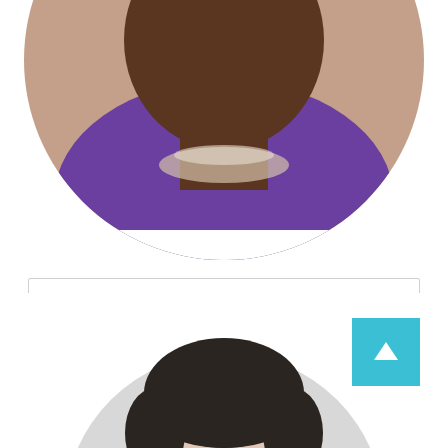[Figure (photo): Circular portrait photo of Diane Banigo, CNM — a Black woman wearing a purple top and a crystal/rhinestone necklace, photographed from the shoulders up]
DIANE BANIGO, CNM
Diane is a Chicago native but also considers Minnesota to be her home. She loves getting to know individuals and families on a...
[Figure (photo): Circular portrait photo of a second person — a woman with dark curly/wavy hair, photographed from the shoulders up against a light gray background, partially visible at the bottom of the page]